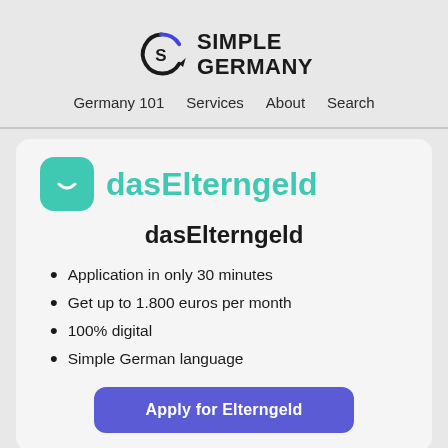[Figure (logo): Simple Germany logo: circular arrow S icon with text SIMPLE GERMANY in bold uppercase]
Germany 101   Services   About   Search
[Figure (logo): dasElterngeld logo: teal rounded square with smile icon and teal text dasElterngeld]
dasElterngeld
Application in only 30 minutes
Get up to 1.800 euros per month
100% digital
Simple German language
Apply for Elterngeld